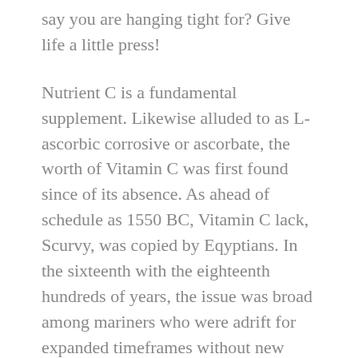say you are hanging tight for? Give life a little press!
Nutrient C is a fundamental supplement. Likewise alluded to as L-ascorbic corrosive or ascorbate, the worth of Vitamin C was first found since of its absence. As ahead of schedule as 1550 BC, Vitamin C lack, Scurvy, was copied by Eqyptians. In the sixteenth with the eighteenth hundreds of years, the issue was broad among mariners who were adrift for expanded timeframes without new organic products or veggies containing Vitamin C. The insufficiency caused fair skin with red or purple regions, delicate gums, indented eyes, interior blood misfortune, detachment of the insides, weariness, nausea, inconvenience in the muscles and joints, disappointment for wound mending, free teeth